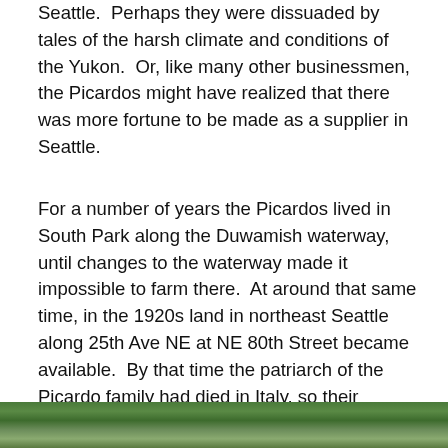Seattle.  Perhaps they were dissuaded by tales of the harsh climate and conditions of the Yukon.  Or, like many other businessmen, the Picardos might have realized that there was more fortune to be made as a supplier in Seattle.
For a number of years the Picardos lived in South Park along the Duwamish waterway, until changes to the waterway made it impossible to farm there.  At around that same time, in the 1920s land in northeast Seattle along 25th Ave NE at NE 80th Street became available.  By that time the patriarch of the Picardo family had died in Italy, so their mother sold the land holdings in Italy and joined her sons in Seattle.  With money from that family inheritance the Picardos were able to purchase a big house at Green Lake and their own farmland in what is now Wedgwood.
[Figure (photo): Partial view of a photograph showing green foliage/vegetation, visible at the bottom of the page.]